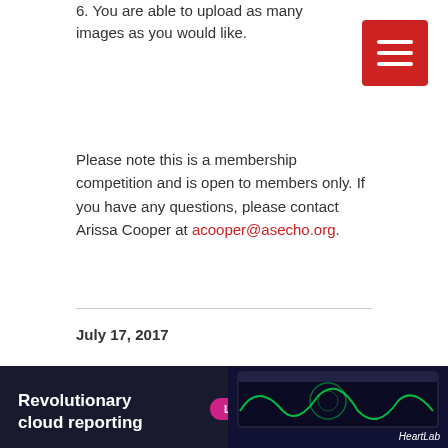6. You are able to upload as many images as you would like.
[Figure (other): Red hamburger menu button with three white horizontal lines]
Please note this is a membership competition and is open to members only. If you have any questions, please contact Arissa Cooper at acooper@asecho.org.
2018 MPFS AND HOPPS Proposed Rules
July 17, 2017
ASE is working on a detailed and targeted analysis of the CY 2018 Medicare Physician Fee Schedule (MPFS) Proposed Rule and the Hospital Outpatient Prospective Payment System (HOPPS) Proposed Rule. ASE will issue comments
[Figure (infographic): Advertisement banner for HeartLab revolutionary cloud reporting with Learn More button and echocardiogram screen image]